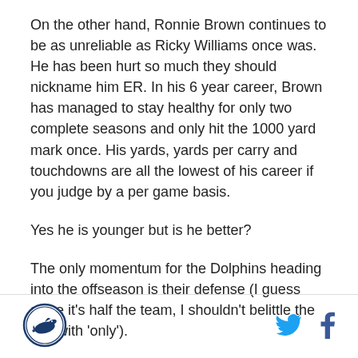On the other hand, Ronnie Brown continues to be as unreliable as Ricky Williams once was. He has been hurt so much they should nickname him ER. In his 6 year career, Brown has managed to stay healthy for only two complete seasons and only hit the 1000 yard mark once. His yards, yards per carry and touchdowns are all the lowest of his career if you judge by a per game basis.
Yes he is younger but is he better?
The only momentum for the Dolphins heading into the offseason is their defense (I guess since it's half the team, I shouldn't belittle the unit with 'only').
[Figure (logo): Circular logo with a dolphin illustration inside, blue border]
[Figure (logo): Twitter bird icon in cyan blue]
[Figure (logo): Facebook 'f' icon in dark blue]